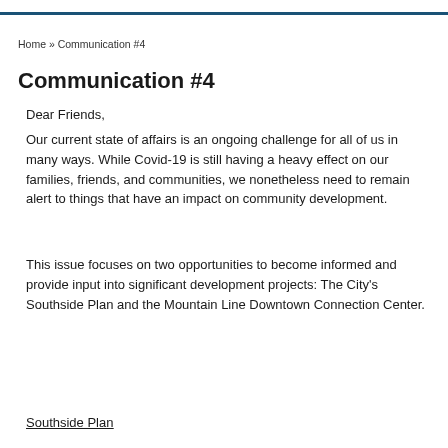Home » Communication #4
Communication #4
Dear Friends,
Our current state of affairs is an ongoing challenge for all of us in many ways. While Covid-19 is still having a heavy effect on our families, friends, and communities, we nonetheless need to remain alert to things that have an impact on community development.
This issue focuses on two opportunities to become informed and provide input into significant development projects: The City's Southside Plan and the Mountain Line Downtown Connection Center.
Southside Plan